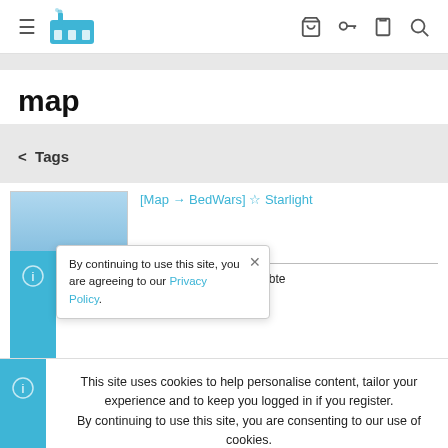≡ [logo] [cart] [key] [clipboard] [search]
map
< Tags
[Map ➡ BedWars] ☆ Starlight
Du bekommst eine beliebte
By continuing to use this site, you are agreeing to our Privacy Policy.
This site uses cookies to help personalise content, tailor your experience and to keep you logged in if you register.
By continuing to use this site, you are consenting to our use of cookies.
✓ Accept   Learn more...